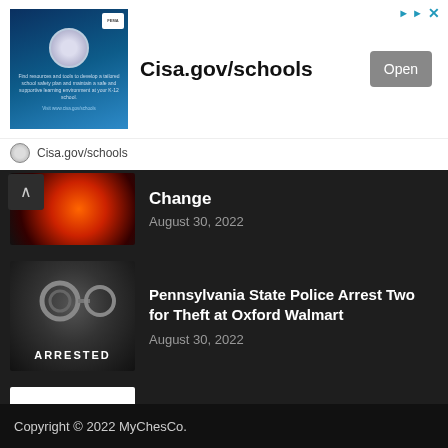[Figure (screenshot): Cisa.gov/schools advertisement banner with school safety imagery, Open button, and Cisa.gov/schools URL]
[Figure (photo): Thumbnail image of earth/fire for 'Change' news article]
Change
August 30, 2022
[Figure (photo): Dark thumbnail with handcuffs and ARRESTED text]
Pennsylvania State Police Arrest Two for Theft at Oxford Walmart
August 30, 2022
[Figure (logo): The Arc Pennsylvania logo on white background]
Report: COVID-19 Crisis Worsens Disabilities Inequality
August 30, 2022
Copyright © 2022 MyChesCo.